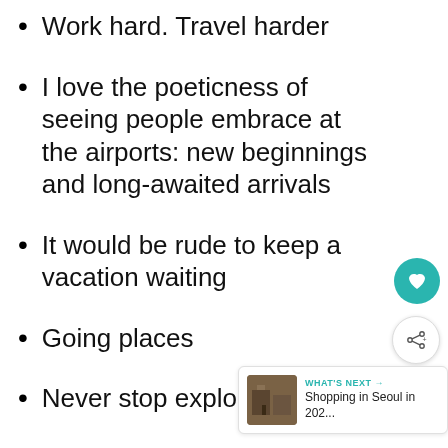Work hard. Travel harder
I love the poeticness of seeing people embrace at the airports: new beginnings and long-awaited arrivals
It would be rude to keep a vacation waiting
Going places
Never stop exploring